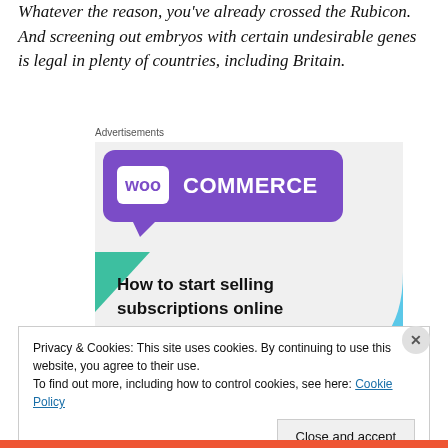Whatever the reason, you've already crossed the Rubicon. And screening out embryos with certain undesirable genes is legal in plenty of countries, including Britain.
Advertisements
[Figure (screenshot): WooCommerce advertisement banner showing 'How to start selling subscriptions online' with purple and teal graphic elements on light grey background]
Privacy & Cookies: This site uses cookies. By continuing to use this website, you agree to their use.
To find out more, including how to control cookies, see here: Cookie Policy
Close and accept